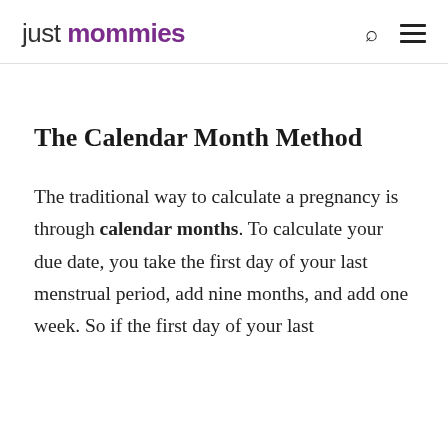just mommies
The Calendar Month Method
The traditional way to calculate a pregnancy is through calendar months. To calculate your due date, you take the first day of your last menstrual period, add nine months, and add one week. So if the first day of your last menstrual period is January 1, you would be due